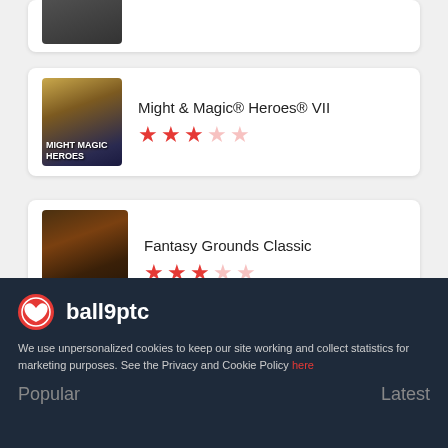[Figure (screenshot): Partial game card with image at top, partially cropped]
Might & Magic® Heroes® VII
[Figure (other): 3-star rating out of 5 for Might & Magic Heroes VII]
Fantasy Grounds Classic
[Figure (other): 3-star rating out of 5 for Fantasy Grounds Classic]
[Figure (logo): Xbox logo circle icon]
ball9ptc
We use unpersonalized cookies to keep our site working and collect statistics for marketing purposes. See the Privacy and Cookie Policy here
Popular | Latest